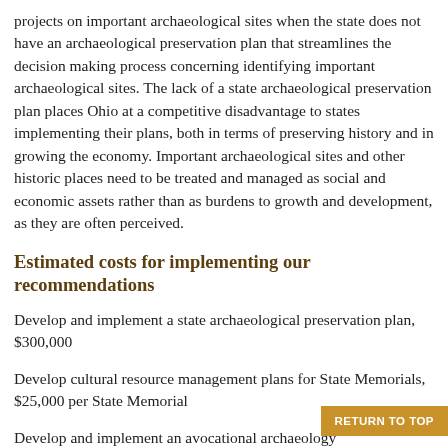projects on important archaeological sites when the state does not have an archaeological preservation plan that streamlines the decision making process concerning identifying important archaeological sites. The lack of a state archaeological preservation plan places Ohio at a competitive disadvantage to states implementing their plans, both in terms of preserving history and in growing the economy. Important archaeological sites and other historic places need to be treated and managed as social and economic assets rather than as burdens to growth and development, as they are often perceived.
Estimated costs for implementing our recommendations
Develop and implement a state archaeological preservation plan, $300,000
Develop cultural resource management plans for State Memorials, $25,000 per State Memorial
Develop and implement an avocational archaeology program, a State Register of Archaeological Landma…